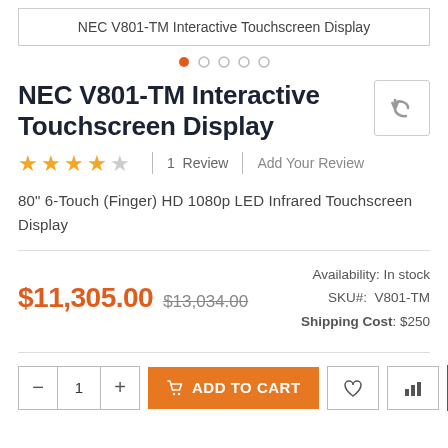NEC V801-TM Interactive Touchscreen Display
NEC V801-TM Interactive Touchscreen Display
1 Review | Add Your Review
80" 6-Touch (Finger) HD 1080p LED Infrared Touchscreen Display
$11,305.00  $13,034.00  Availability: In stock  SKU#: V801-TM  Shipping Cost: $250
ADD TO CART